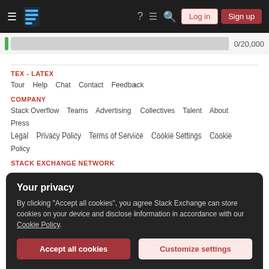Stack Exchange navigation bar with Log in and Sign up buttons
0/20,000
TEX - LATEX
Tour  Help  Chat  Contact  Feedback
COMPANY
Stack Overflow  Teams  Advertising  Collectives  Talent  About  Press  Legal  Privacy Policy  Terms of Service  Cookie Settings  Cookie Policy
STACK EXCHANGE NETWORK
Your privacy
By clicking "Accept all cookies", you agree Stack Exchange can store cookies on your device and disclose information in accordance with our Cookie Policy.
Accept all cookies  Customize settings